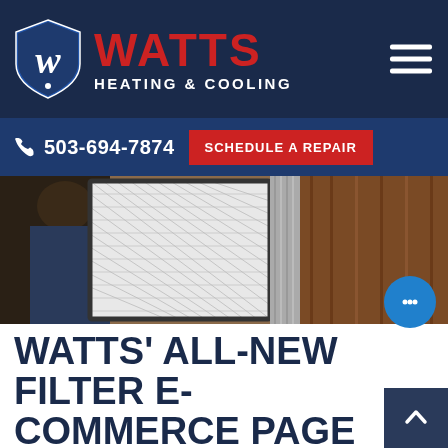[Figure (logo): Watts Heating & Cooling logo with shield emblem and hamburger menu on dark navy background]
503-694-7874  SCHEDULE A REPAIR
[Figure (photo): A technician inspecting or replacing an HVAC air filter]
WATTS' ALL-NEW FILTER E-COMMERCE PAGE
At Watts, we are always listening to our customers as we work to provide the best